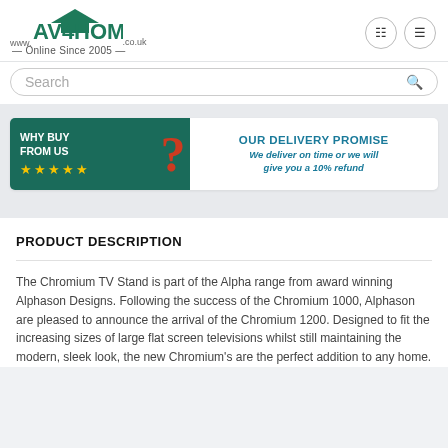www.AV4HOME.co.uk — Online Since 2005 —
[Figure (infographic): WHY BUY FROM US ★★★★★ with question mark and delivery person figure. OUR DELIVERY PROMISE — We deliver on time or we will give you a 10% refund]
PRODUCT DESCRIPTION
The Chromium TV Stand is part of the Alpha range from award winning Alphason Designs. Following the success of the Chromium 1000, Alphason are pleased to announce the arrival of the Chromium 1200. Designed to fit the increasing sizes of large flat screen televisions whilst still maintaining the modern, sleek look, the new Chromium's are the perfect addition to any home.